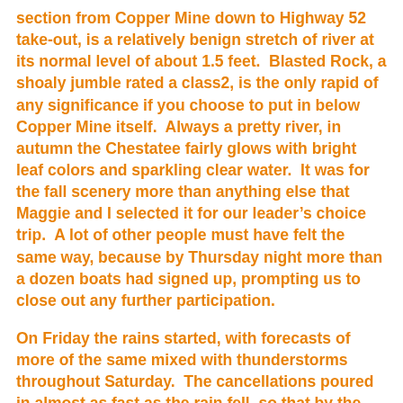section from Copper Mine down to Highway 52 take-out, is a relatively benign stretch of river at its normal level of about 1.5 feet.  Blasted Rock, a shoaly jumble rated a class2, is the only rapid of any significance if you choose to put in below Copper Mine itself.  Always a pretty river, in autumn the Chestatee fairly glows with bright leaf colors and sparkling clear water.  It was for the fall scenery more than anything else that Maggie and I selected it for our leader's choice trip.  A lot of other people must have felt the same way, because by Thursday night more than a dozen boats had signed up, prompting us to close out any further participation.
On Friday the rains started, with forecasts of more of the same mixed with thunderstorms throughout Saturday.  The cancellations poured in almost as fast as the rain fell, so that by the time we met on Saturday morning only five boats,including Maggie